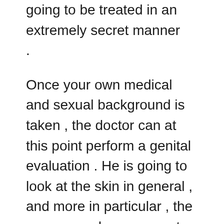going to be treated in an extremely secret manner .
Once your own medical and sexual background is taken , the doctor can at this point perform a genital evaluation . He is going to look at the skin in general , and more in particular , the area around your current genitals . Some STD lab tests need swabs from the genitals in order to figure out the existence of the disease .
Certain STDs are tested via blood lab tests : They include HIV , syphilis and also hepatitis . All these diseases are verified via the presence of the microorganism in the blood . If the tests result positive for an infection , treatment method can be